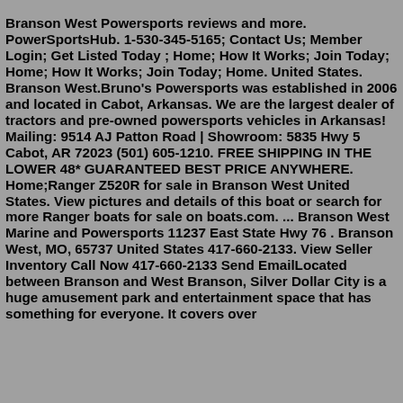Branson West Powersports reviews and more. PowerSportsHub. 1-530-345-5165; Contact Us; Member Login; Get Listed Today ; Home; How It Works; Join Today; Home; How It Works; Join Today; Home. United States. Branson West.Bruno's Powersports was established in 2006 and located in Cabot, Arkansas. We are the largest dealer of tractors and pre-owned powersports vehicles in Arkansas! Mailing: 9514 AJ Patton Road | Showroom: 5835 Hwy 5 Cabot, AR 72023 (501) 605-1210. FREE SHIPPING IN THE LOWER 48* GUARANTEED BEST PRICE ANYWHERE. Home;Ranger Z520R for sale in Branson West United States. View pictures and details of this boat or search for more Ranger boats for sale on boats.com. ... Branson West Marine and Powersports 11237 East State Hwy 76 . Branson West, MO, 65737 United States 417-660-2133. View Seller Inventory Call Now 417-660-2133 Send EmailLocated between Branson and West Branson, Silver Dollar City is a huge amusement park and entertainment space that has something for everyone. It covers over